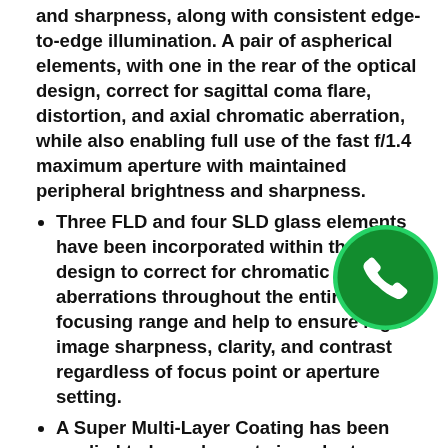and sharpness, along with consistent edge-to-edge illumination. A pair of aspherical elements, with one in the rear of the optical design, correct for sagittal coma flare, distortion, and axial chromatic aberration, while also enabling full use of the fast f/1.4 maximum aperture with maintained peripheral brightness and sharpness.
Three FLD and four SLD glass elements have been incorporated within the lens design to correct for chromatic aberrations throughout the entire focusing range and help to ensure high image sharpness, clarity, and contrast regardless of focus point or aperture setting.
A Super Multi-Layer Coating has been applied to lens elements in order to minimize lens flare and ghosting and contribute to producing clean, rich and color-neutral imagery, even in backlit conditions.
The integrated HSM (Hyper Sonic Motor) realizes quick and quiet autofocusing, which is further complemented by an optimized AF algorithm to produce smoother focusing performance. The
[Figure (logo): WhatsApp logo - green circle with white phone handset icon]